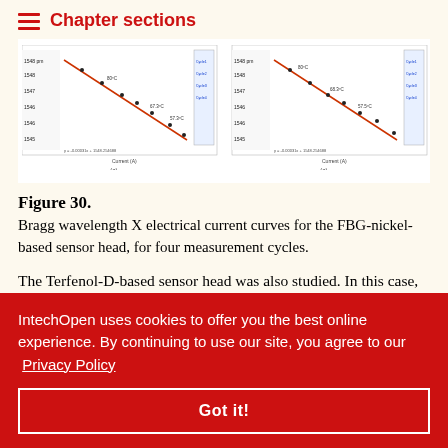Chapter sections
[Figure (other): Two scientific scatter/line plots labeled (c) and (c), showing Bragg wavelength vs electrical current data with linear fits and temperature labels]
Figure 30. Bragg wavelength X electrical current curves for the FBG-nickel-based sensor head, for four measurement cycles.
The Terfenol-D-based sensor head was also studied. In this case, an FBG with a resonance from at 25°C was previously ed Bragg showed in he data, the , and the temperature of the rod during the experiment, are
IntechOpen uses cookies to offer you the best online experience. By continuing to use our site, you agree to our Privacy Policy
Got it!